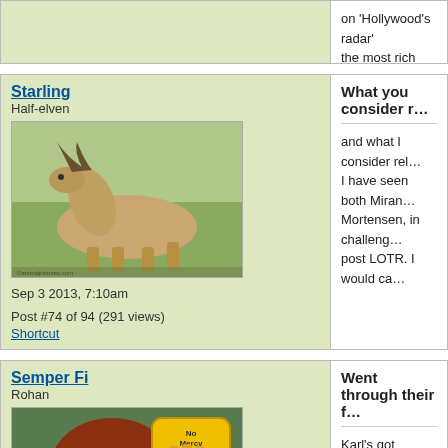on 'Hollywood's radar' the most rich and satis…
Starling
Half-elven
Sep 3 2013, 7:10am
Post #74 of 94 (291 views)
Shortcut
What you consider r…
and what I consider rel… I have seen both Miran… Mortensen, in challeng… post LOTR. I would ca…
Semper Fi
Rohan
Sep 3 2013, 11:18am
Post #75 of 94 (282 views)
Shortcut
Went through their f…
Karl's got acclaim for … maybe some NZ work…
Otto's got no acclaime… show Cashmere Mafia… Aussie movie Blessed… singled out as a stando…
"RadagaStoner deserve… Chief of Inglorious Elf…